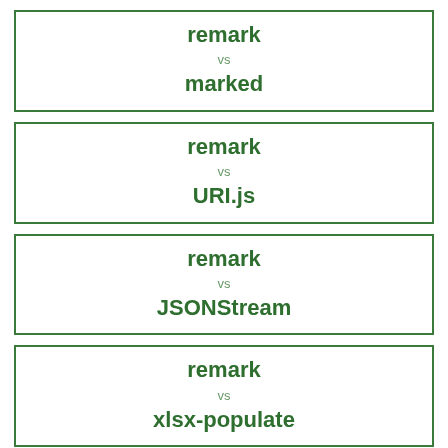remark vs marked
remark vs URI.js
remark vs JSONStream
remark vs xlsx-populate
remark vs